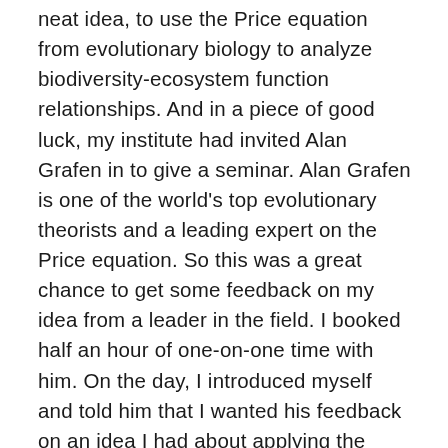neat idea, to use the Price equation from evolutionary biology to analyze biodiversity-ecosystem function relationships. And in a piece of good luck, my institute had invited Alan Grafen in to give a seminar. Alan Grafen is one of the world's top evolutionary theorists and a leading expert on the Price equation. So this was a great chance to get some feedback on my idea from a leader in the field. I booked half an hour of one-on-one time with him. On the day, I introduced myself and told him that I wanted his feedback on an idea I had about applying the Price equation to ecology. I went to a white board and started writing math, walking him through the idea. As I recall (and I admit I may be fuzzy on details–this was over a decade ago), about 30 seconds in, he interrupted and asked me to clarify my notation. It was a small question, the sort of thing you easily clear up–at least, if you know what the hell you're d oing. I, however, was not entirely sure what the